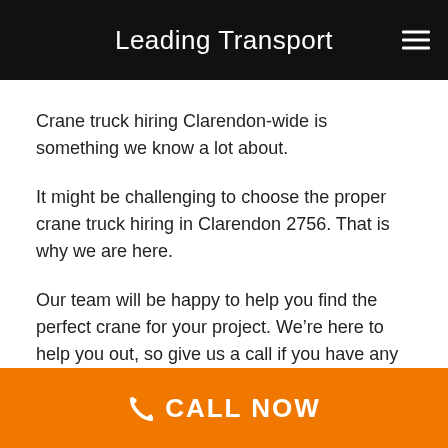Leading Transport
Crane truck hiring Clarendon-wide is something we know a lot about.
It might be challenging to choose the proper crane truck hiring in Clarendon 2756. That is why we are here.
Our team will be happy to help you find the perfect crane for your project. We’re here to help you out, so give us a call if you have any questions.
CALL NOW